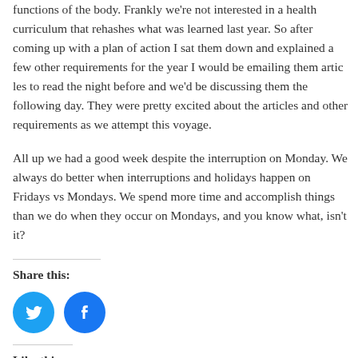functions of the body. Frankly we're not interested in a health curric... learned last year. So after coming up with a plan of action I sat the... few other requirements for the year I would be emailing them artic... we'd be discussing them the following day. They were pretty excite... articles and other requirements as we attempt this voyage.
All up we had a good week despite the interruption on Monday. We... interruptions and holidays happen on Fridays vs Mondays. We spen... accomplish things than we do when they occur on Mondays, and y... isn't it?
Share this:
[Figure (other): Twitter and Facebook social share icon buttons (blue circles with white icons)]
Like this:
Loading...